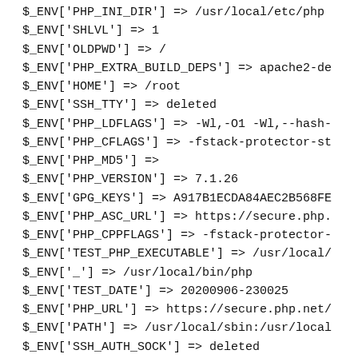$_ENV['PHP_INI_DIR'] => /usr/local/etc/php
$_ENV['SHLVL'] => 1
$_ENV['OLDPWD'] => /
$_ENV['PHP_EXTRA_BUILD_DEPS'] => apache2-de
$_ENV['HOME'] => /root
$_ENV['SSH_TTY'] => deleted
$_ENV['PHP_LDFLAGS'] => -Wl,-O1 -Wl,--hash-
$_ENV['PHP_CFLAGS'] => -fstack-protector-st
$_ENV['PHP_MD5'] =>
$_ENV['PHP_VERSION'] => 7.1.26
$_ENV['GPG_KEYS'] => A917B1ECDA84AEC2B568FE
$_ENV['PHP_ASC_URL'] => https://secure.php.
$_ENV['PHP_CPPFLAGS'] => -fstack-protector-
$_ENV['TEST_PHP_EXECUTABLE'] => /usr/local/
$_ENV['_'] => /usr/local/bin/php
$_ENV['TEST_DATE'] => 20200906-230025
$_ENV['PHP_URL'] => https://secure.php.net/
$_ENV['PATH'] => /usr/local/sbin:/usr/local
$_ENV['SSH_AUTH_SOCK'] => deleted
$_ENV['TEST_PHP_EXECUTABLE'] => /usr/local/